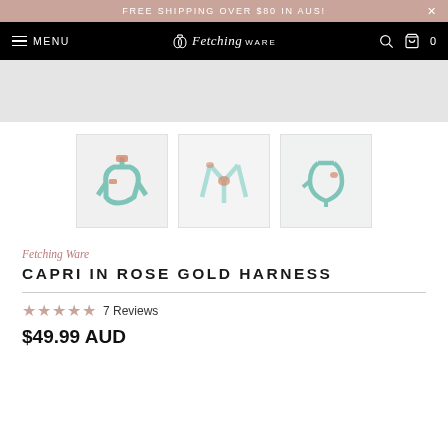FREE SHIPPING OVER $80 IN AUS!
[Figure (screenshot): E-commerce website header with black navigation bar showing hamburger menu, MENU text, Fetching Ware logo, search icon, bag icon and cart count 0]
[Figure (photo): Three thumbnail product images of a mint/teal dog harness with rose gold hardware shown from different angles on a light grey background]
Fetching Ware
CAPRI IN ROSE GOLD HARNESS
7 Reviews
$49.99 AUD